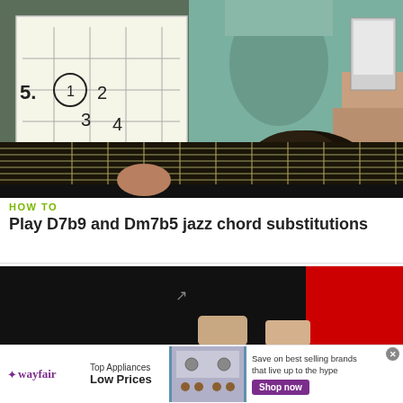[Figure (screenshot): Video thumbnail showing a person playing a jazz guitar with a whiteboard visible on the left showing finger positions numbered 1-4 with '5' written to the side. Guitar neck visible in lower portion.]
HOW TO
Play D7b9 and Dm7b5 jazz chord substitutions
[Figure (screenshot): Dark video thumbnail showing hands playing guitar, with a red section on the right side.]
[Figure (advertisement): Wayfair advertisement banner showing logo, 'Top Appliances Low Prices' text, stove image, and 'Save on best selling brands that live up to the hype' with a purple 'Shop now' button.]